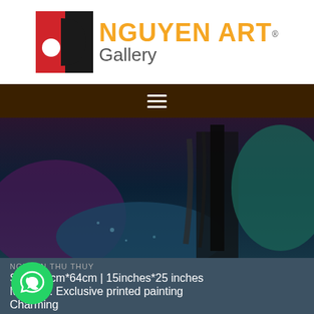[Figure (logo): Nguyen Art Gallery logo: red and black square icon with white circle, orange text NGUYEN ART and gray text Gallery, registered trademark symbol]
[Figure (other): Navigation bar with hamburger menu icon (three white horizontal lines) on dark brown background]
[Figure (photo): Abstract painting artwork cropped view showing dark purple, teal, black brushstroke textures]
NGUYEN THU THUY
Size: 38cm*64cm | 15inches*25 inches
Material: Exclusive printed painting
Charming
[Figure (photo): Second artwork partially visible: green background with colorful lotus-like floral painting, WhatsApp button bottom left, favorite star button top right]